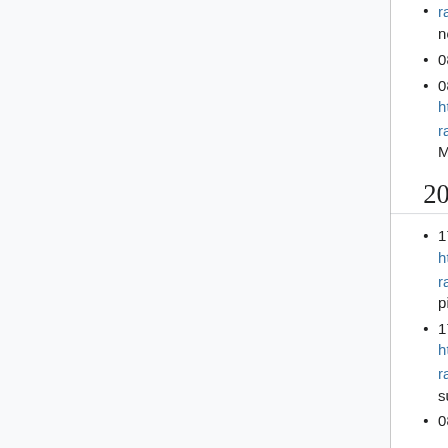ration/config/+/533905/ Remove wmf pipelines from non mediawiki repos"
08:32 hashar: err
08:32 hashar: reloading zuul for https://gerrit.wikimedia.org/r/#c/integration/config/+/533909/ "zuul: add pipelines for MediaWiki releases"
2019-09-02
17:08 hashar: Reloading Zuul for https://gerrit.wikimedia.org/r/#c/integration/config/+/533885/ zuul: introduce test-wmf pipeline
17:05 hashar: Reloading Zuul for https://gerrit.wikimedia.org/r/#c/integration/config/+/533880/ "zuul: rename gate-and-submit-swat to use -wmf"
08:30 hashar: Reloading Zuul for